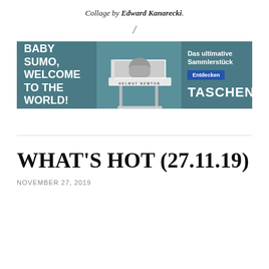Collage by Edward Kanarecki.
/
[Figure (photo): Taschen advertisement banner for 'Baby Sumo, welcome to the world!' featuring a Helmut Newton large format book on a metal stand. Text includes 'BABY SUMO, welcome to the world!', 'Das ultimative Sammlerstück', 'Entdecken', 'TASCHEN'. Background is teal/dark blue-green.]
WHAT'S HOT (27.11.19)
NOVEMBER 27, 2019